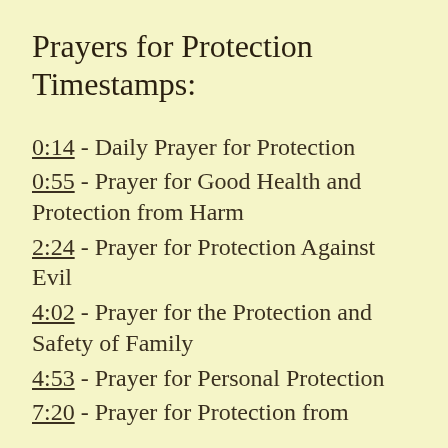Prayers for Protection Timestamps:
0:14 - Daily Prayer for Protection
0:55 - Prayer for Good Health and Protection from Harm
2:24 - Prayer for Protection Against Evil
4:02 - Prayer for the Protection and Safety of Family
4:53 - Prayer for Personal Protection
7:20 - Prayer for Protection from